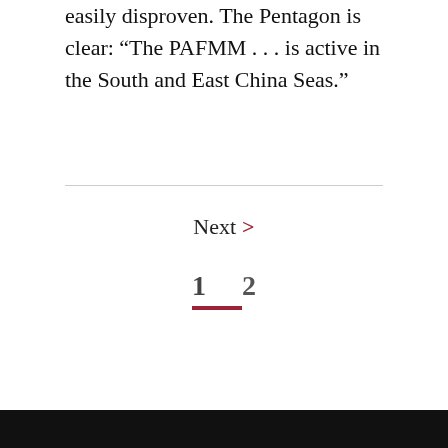easily disproven. The Pentagon is clear: “The PAFMM . . . is active in the South and East China Seas.”
Next ›
1   2